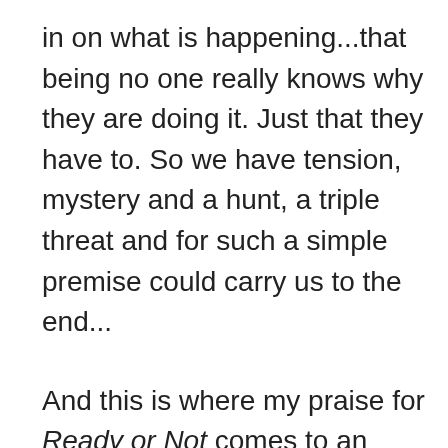in on what is happening...that being no one really knows why they are doing it. Just that they have to. So we have tension, mystery and a hunt, a triple threat and for such a simple premise could carry us to the end...
And this is where my praise for Ready or Not comes to an end. No holding back on this one, after the initial build up to the actual game in the movie it loses all steam. It becomes apparent that even